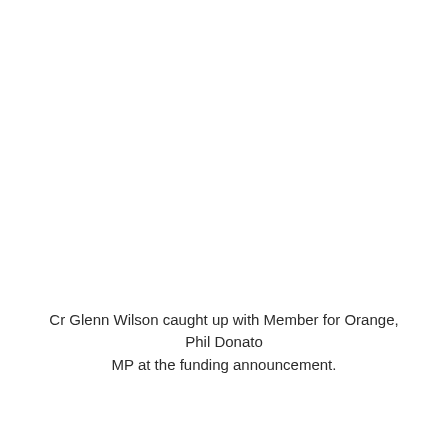Cr Glenn Wilson caught up with Member for Orange, Phil Donato MP at the funding announcement.